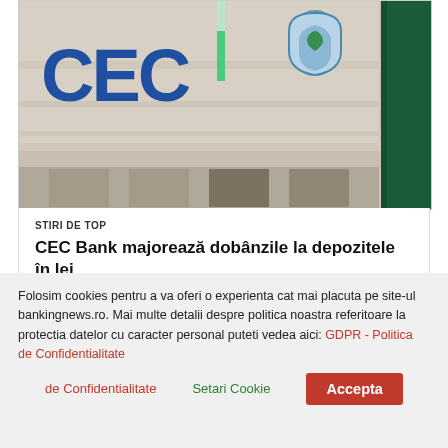[Figure (photo): CEC Bank building exterior signage showing CEC Bank logo with blue letters on a classic European building facade, with a green vertical panel on the right side]
STIRI DE TOP
CEC Bank majorează dobânzile la depozitele în lei
Sucursala CEC Bank Din 1 august 2022, CEC Bank a operat
Folosim cookies pentru a va oferi o experienta cat mai placuta pe site-ul bankingnews.ro. Mai multe detalii despre politica noastra referitoare la protectia datelor cu caracter personal puteti vedea aici: GDPR - Politica de Confidentialitate
Setari Cookie
Accepta